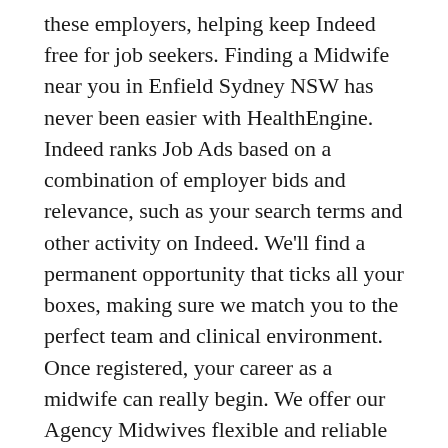these employers, helping keep Indeed free for job seekers. Finding a Midwife near you in Enfield Sydney NSW has never been easier with HealthEngine. Indeed ranks Job Ads based on a combination of employer bids and relevance, such as your search terms and other activity on Indeed. We'll find a permanent opportunity that ticks all your boxes, making sure we match you to the perfect team and clinical environment. Once registered, your career as a midwife can really begin. We offer our Agency Midwives flexible and reliable shifts, including opportunities to block book. St Vincent's Private Hospital. You'll automatically ... Companies presently offering Midwife job vacancies in Sydney include South Eastern Sydney Local Health District, South Western Sydney Local Health District, Northern Sydney Local Health District.. 77% of the live vacancies are full-time, however 23% of them are part time positions